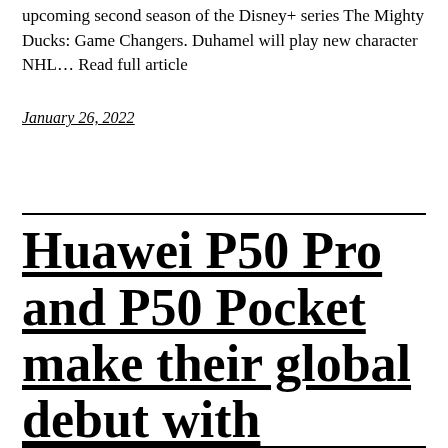upcoming second season of the Disney+ series The Mighty Ducks: Game Changers. Duhamel will play new character NHL… Read full article
January 26, 2022
Huawei P50 Pro and P50 Pocket make their global debut with